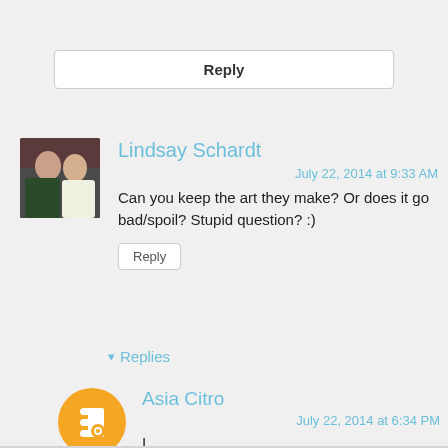Reply
Lindsay Schardt
July 22, 2014 at 9:33 AM
Can you keep the art they make? Or does it go bad/spoil? Stupid question? :)
Reply
▾ Replies
Asia Citro
July 22, 2014 at 6:34 PM
I didn't try because I assumed it